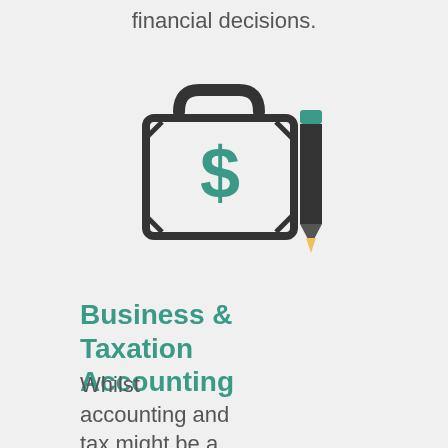financial decisions.
[Figure (illustration): Icon of a briefcase with a dollar sign in green, next to a dark pencil icon with a green eraser tip]
Business & Taxation Accounting
Whilst accounting and tax might be a little dry to